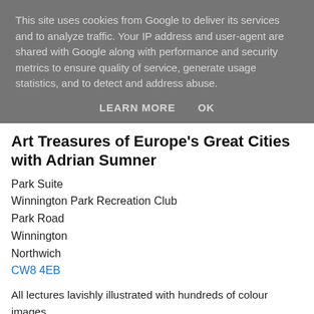This site uses cookies from Google to deliver its services and to analyze traffic. Your IP address and user-agent are shared with Google along with performance and security metrics to ensure quality of service, generate usage statistics, and to detect and address abuse.
LEARN MORE   OK
Art Treasures of Europe's Great Cities with Adrian Sumner
Park Suite
Winnington Park Recreation Club
Park Road
Winnington
Northwich
CW8 4EB
All lectures lavishly illustrated with hundreds of colour images.
2.00pm - £5.00 - Click on the links below to book tickets online.
Click on the venue above for a map to the venue.